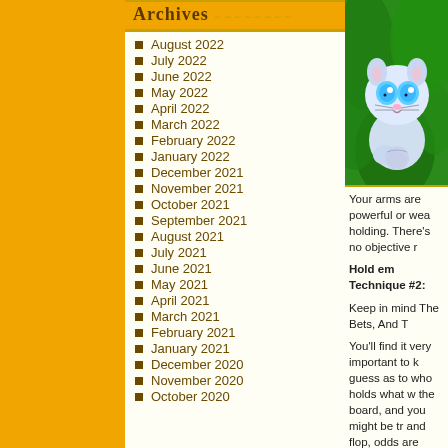Archives
August 2022
July 2022
June 2022
May 2022
April 2022
March 2022
February 2022
January 2022
December 2021
November 2021
October 2021
September 2021
August 2021
July 2021
June 2021
May 2021
April 2021
March 2021
February 2021
January 2021
December 2020
November 2020
October 2020
[Figure (illustration): Cartoon blue fluffy cat creature with big blue eyes, sitting among green leaves, animated style]
Your arms are powerful or wea holding. There’s no objective r
Hold em Technique #2:
Keep in mind The Bets, And T
You’ll find it very important to k guess as to who holds what w the board, and you might be tr and flop, odds are they’ve gre most likely made a straight. O subterfuge to confuse you. Yo
Holdem System #three:
Acquire Em Out
Isolation is really a essential n